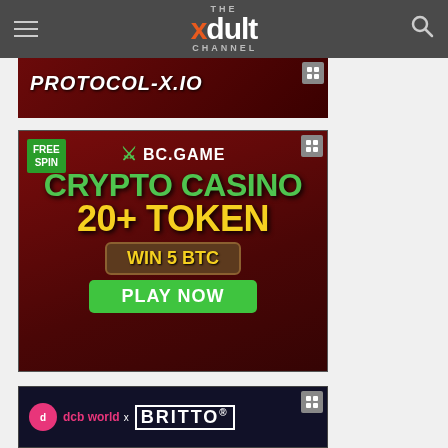THE xdult CHANNEL — navigation bar with hamburger menu and search icon
[Figure (illustration): Partial view of a dark red advertisement banner showing text 'PROTOCOL-X.IO' in bold white italic letters on dark red background]
[Figure (illustration): BC.GAME crypto casino advertisement banner. Dark red background with green and yellow text. Shows: FREE SPIN, BC.GAME logo, CRYPTO CASINO, 20+ TOKEN, WIN 5 BTC, PLAY NOW button. Features cartoon cowboy alligator mascot and spinning wheel with cryptocurrency coins.]
[Figure (illustration): Partial view of bottom advertisement banner showing 'dcb world x BRITTO' logo on dark navy background with decorative patterns]